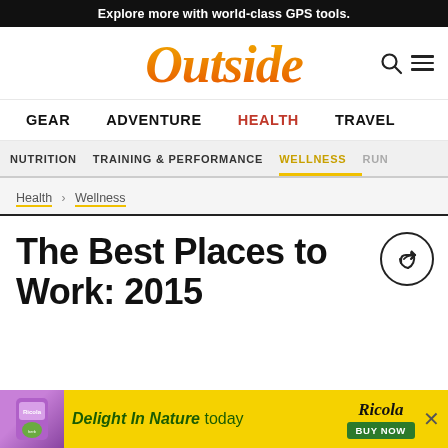Explore more with world-class GPS tools.
[Figure (logo): Outside magazine logo in orange/red gradient italic serif font]
GEAR  ADVENTURE  HEALTH  TRAVEL
NUTRITION  TRAINING & PERFORMANCE  WELLNESS  RUN
Health > Wellness
The Best Places to Work: 2015
[Figure (infographic): Ricola advertisement banner: Delight In Nature today BUY NOW]